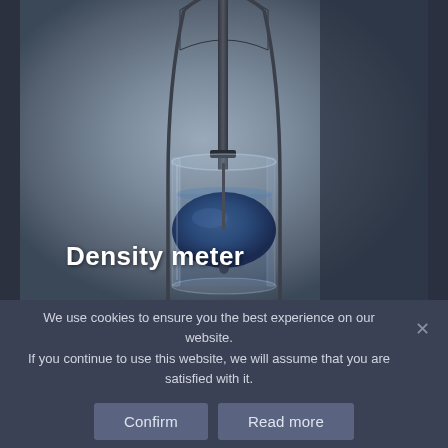[Figure (photo): A density meter instrument — a glass vessel containing a blue floating object (buoy/bob), suspended by a thin rod with an arched metal frame, sitting in a clear liquid inside the glass container. The background is dark blue-grey.]
Density meter
We use cookies to ensure you the best experience on our website. If you continue to use this website, we will assume that you are satisfied with it.